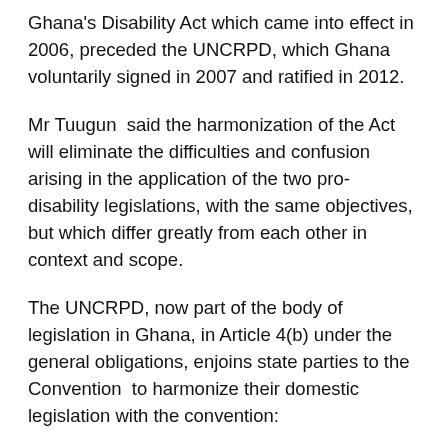Ghana's Disability Act which came into effect in 2006, preceded the UNCRPD, which Ghana voluntarily signed in 2007 and ratified in 2012.
Mr Tuugun said the harmonization of the Act will eliminate the difficulties and confusion arising in the application of the two pro-disability legislations, with the same objectives, but which differ greatly from each other in context and scope.
The UNCRPD, now part of the body of legislation in Ghana, in Article 4(b) under the general obligations, enjoins state parties to the Convention to harmonize their domestic legislation with the convention:
“Though disability is an evolving concept, Act